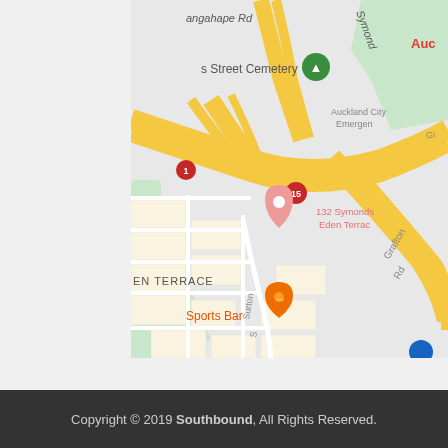[Figure (map): Google Maps screenshot showing area around Eden Terrace, Auckland, New Zealand. Visible labels include: angahape Rd, Symond (Symonds Street), s Street Cemetery, Auckland City Emergency (hospital), 132 Symonds Eden Terrace, Grafton Rd, Surton S, EN TERRACE, Sports Bar, with a route marker/pin showing location. Highway interchange visible with yellow roads. Orange map pin with fork/knife icon indicating Sports Bar location.]
Copyright © 2019 Southbound, All Rights Reserved.